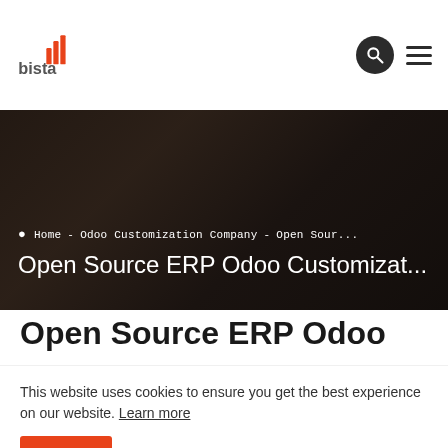bista [logo]
Home - Odoo Customization Company - Open Sour...
Open Source ERP Odoo Customizat...
Open Source ERP Odoo
This website uses cookies to ensure you get the best experience on our website. Learn more
Got it